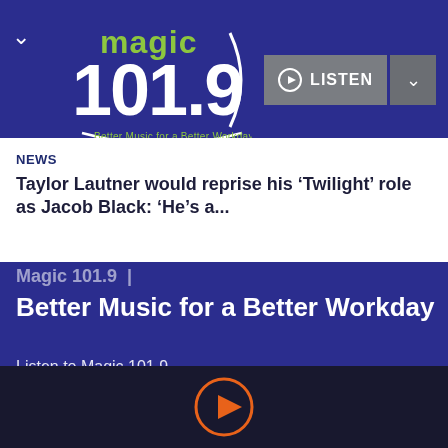[Figure (logo): Magic 101.9 radio station logo with text 'Better Music for a Better Workday']
NEWS
Taylor Lautner would reprise his 'Twilight' role as Jacob Black: 'He's a...
Magic 101.9  |  Better Music for a Better Workday
Listen to Magic 101.9
Contact Us
EEO
Public Inspection File
Contest Rules